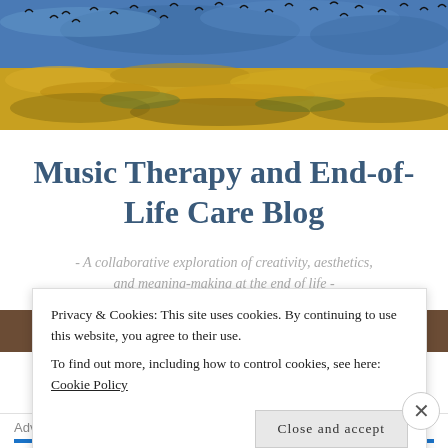[Figure (illustration): Van Gogh style painting showing a wheatfield with crows under a blue swirling sky with birds flying overhead]
Music Therapy and End-of-Life Care Blog
- A collaborative exploration of creativity, aesthetics, and meaning-making at the end of life -
≡ MENU
Privacy & Cookies: This site uses cookies. By continuing to use this website, you agree to their use.
To find out more, including how to control cookies, see here: Cookie Policy
Close and accept
Advertisements